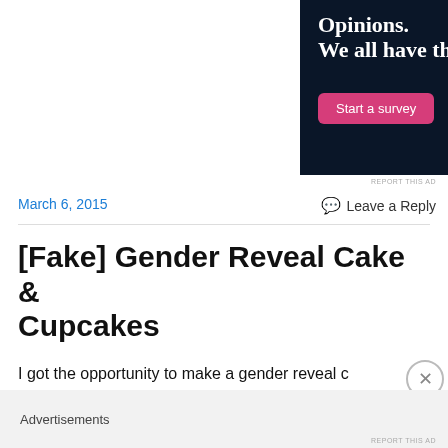[Figure (illustration): Crowdsignal advertisement banner with dark navy background. Text reads 'Opinions. We all have them!' with a pink 'Start a survey' button and Crowdsignal logo circle on the right.]
REPORT THIS AD
March 6, 2015
Leave a Reply
[Fake] Gender Reveal Cake & Cupcakes
Advertisements
REPORT THIS AD